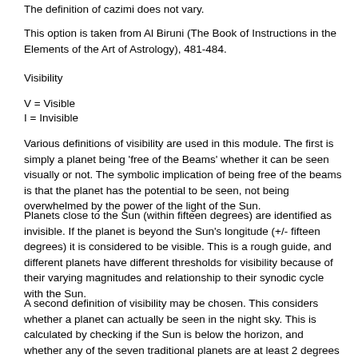The definition of cazimi does not vary.
This option is taken from Al Biruni (The Book of Instructions in the Elements of the Art of Astrology), 481-484.
Visibility
V = Visible
I = Invisible
Various definitions of visibility are used in this module. The first is simply a planet being 'free of the Beams' whether it can be seen visually or not. The symbolic implication of being free of the beams is that the planet has the potential to be seen, not being overwhelmed by the power of the light of the Sun.
Planets close to the Sun (within fifteen degrees) are identified as invisible. If the planet is beyond the Sun's longitude (+/- fifteen degrees) it is considered to be visible. This is a rough guide, and different planets have different thresholds for visibility because of their varying magnitudes and relationship to their synodic cycle with the Sun.
A second definition of visibility may be chosen. This considers whether a planet can actually be seen in the night sky. This is calculated by checking if the Sun is below the horizon, and whether any of the seven traditional planets are at least 2 degrees of altitude above the horizon. Due to the varying magnitudes of the planets, the negative altitude of the Sun is varied in the calculation as follows: